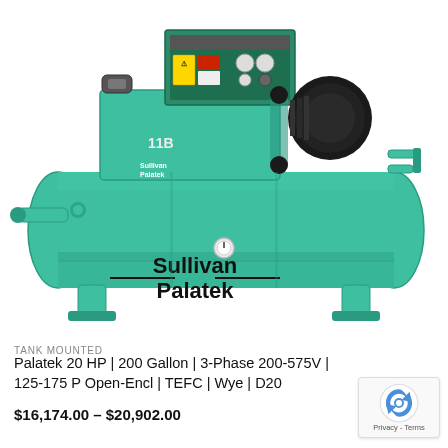[Figure (photo): Sullivan Palatek 20 HP tank-mounted air compressor with teal/green tank, mounted compressor pump and motor on top, control panel, and support legs. Brand name 'Sullivan Palatek' visible on tank.]
TANK MOUNTED
Palatek 20 HP | 200 Gallon | 3-Phase 200-575V | 125-175 P Open-Encl | TEFC | Wye | D20
$16,174.00 – $20,902.00